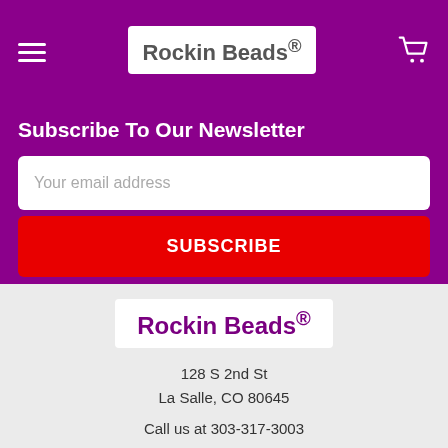Rockin Beads®
Subscribe To Our Newsletter
Your email address
SUBSCRIBE
[Figure (logo): Rockin Beads® logo in footer]
128 S 2nd St
La Salle, CO 80645

Call us at 303-317-3003